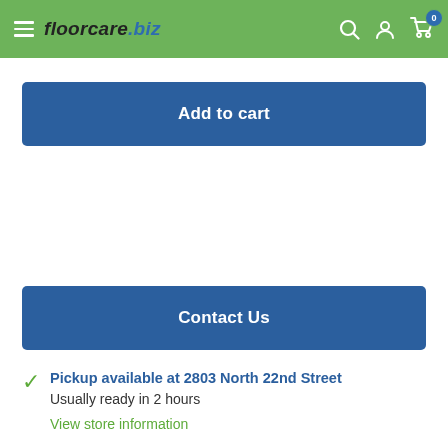floorcare.biz
Add to cart
Contact Us
Pickup available at 2803 North 22nd Street
Usually ready in 2 hours
View store information